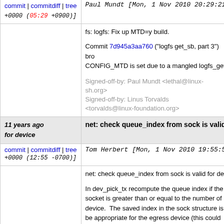commit | commitdiff | tree   Paul Mundt [Mon, 1 Nov 2010 20:29:21 +0000 (05:29 +0900)]
fs: logfs: Fix up MTD=y build.

Commit 7d945a3aa760 ("logfs get_sb, part 3") bro... CONFIG_MTD is set due to a mangled logfs_get_...

Signed-off-by: Paul Mundt <lethal@linux-sh.org>
Signed-off-by: Linus Torvalds <torvalds@linux-foundation.org>
11 years ago for device   net: check queue_index from sock is valid for device
commit | commitdiff | tree   Tom Herbert [Mon, 1 Nov 2010 19:55:52 +0000 (12:55 -0700)]
net: check queue_index from sock is valid for devi...

In dev_pick_tx recompute the queue index if the v... socket is greater than or equal to the number of re... device. The saved index in the sock structure is n... be appropriate for the egress device (this could ha... change or in presence of tunnelling). The result o... being bad would be to return a bogus queue (cras... follow).

Signed-off-by: Tom Herbert <therbert@google.com>